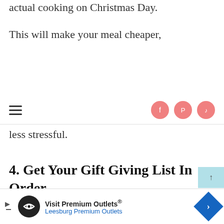actual cooking on Christmas Day.
This will make your meal cheaper,
Navigation bar with hamburger menu and social icons (Facebook, Pinterest, TikTok)
less stressful.
4. Get Your Gift Giving List In Order
[Figure (other): Back to top arrow button, light blue background]
[Figure (other): Advertisement banner: Visit Premium Outlets® Leesburg Premium Outlets]